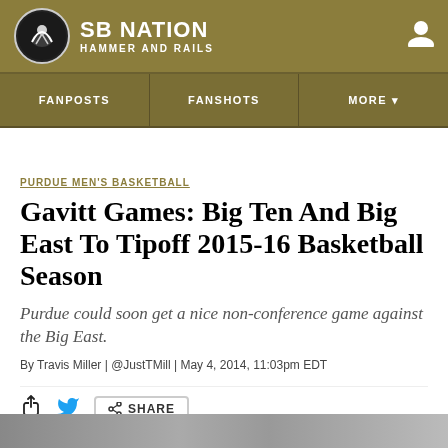SB NATION — HAMMER AND RAILS
PURDUE MEN'S BASKETBALL
Gavitt Games: Big Ten And Big East To Tipoff 2015-16 Basketball Season
Purdue could soon get a nice non-conference game against the Big East.
By Travis Miller | @JustTMill | May 4, 2014, 11:03pm EDT